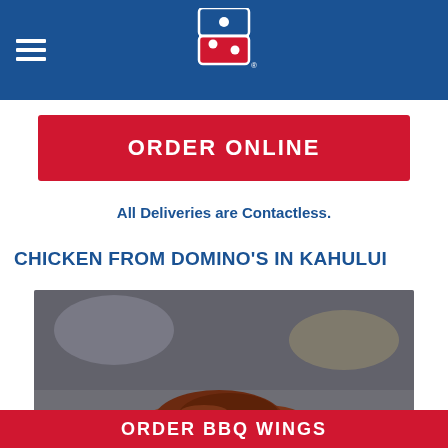Domino's navigation header with logo
ORDER ONLINE
All Deliveries are Contactless.
CHICKEN FROM DOMINO'S IN KAHULUI
[Figure (photo): Photo of BBQ chicken wings piled on aluminum foil, dark glazed wings with crispy texture]
ORDER BBQ WINGS